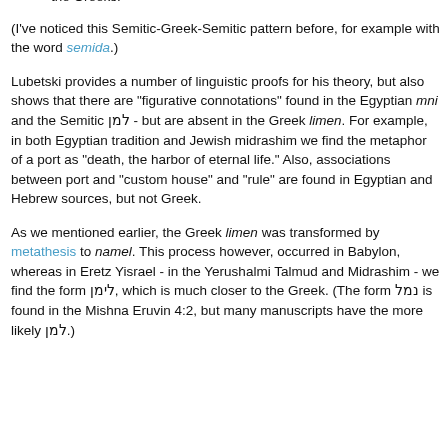appropriated limen from the Greeks, but even if this was so, it was only using an Egypto-Semitic word adopted long before by the Greeks.
(I've noticed this Semitic-Greek-Semitic pattern before, for example with the word semida.)
Lubetski provides a number of linguistic proofs for his theory, but also shows that there are "figurative connotations" found in the Egyptian mni and the Semitic למן - but are absent in the Greek limen. For example, in both Egyptian tradition and Jewish midrashim we find the metaphor of a port as "death, the harbor of eternal life." Also, associations between port and "custom house" and "rule" are found in Egyptian and Hebrew sources, but not Greek.
As we mentioned earlier, the Greek limen was transformed by metathesis to namel. This process however, occurred in Babylon, whereas in Eretz Yisrael - in the Yerushalmi Talmud and Midrashim - we find the form לימן, which is much closer to the Greek. (The form נמל is found in the Mishna Eruvin 4:2, but many manuscripts have the more likely למן.)